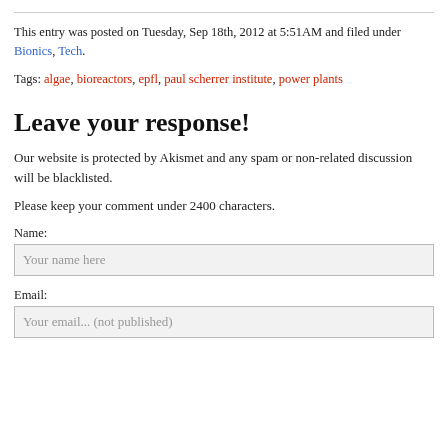This entry was posted on Tuesday, Sep 18th, 2012 at 5:51AM and filed under Bionics, Tech.
Tags: algae, bioreactors, epfl, paul scherrer institute, power plants
Leave your response!
Our website is protected by Akismet and any spam or non-related discussion will be blacklisted.
Please keep your comment under 2400 characters.
Name:
Your name here
Email:
Your email... (not published)